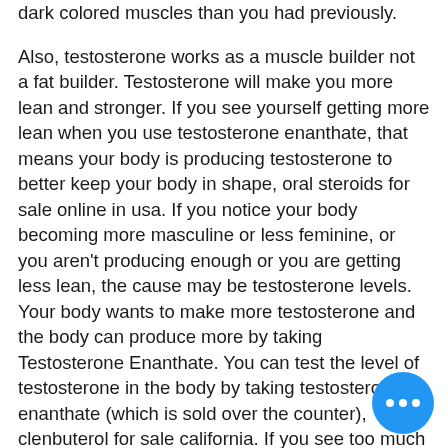dark colored muscles than you had previously.

Also, testosterone works as a muscle builder not a fat builder. Testosterone will make you more lean and stronger. If you see yourself getting more lean when you use testosterone enanthate, that means your body is producing testosterone to better keep your body in shape, oral steroids for sale online in usa. If you notice your body becoming more masculine or less feminine, or you aren't producing enough or you are getting less lean, the cause may be testosterone levels. Your body wants to make more testosterone and the body can produce more by taking Testosterone Enanthate. You can test the level of testosterone in the body by taking testosterone enanthate (which is sold over the counter), clenbuterol for sale california. If you see too much of your test is coming your penis, you need to replace your penis.